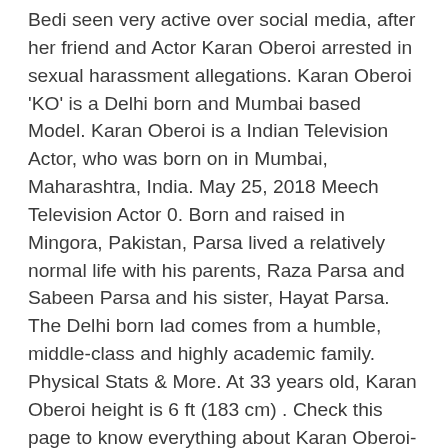Bedi seen very active over social media, after her friend and Actor Karan Oberoi arrested in sexual harassment allegations. Karan Oberoi 'KO' is a Delhi born and Mumbai based Model. Karan Oberoi is a Indian Television Actor, who was born on in Mumbai, Maharashtra, India. May 25, 2018 Meech Television Actor 0. Born and raised in Mingora, Pakistan, Parsa lived a relatively normal life with his parents, Raza Parsa and Sabeen Parsa and his sister, Hayat Parsa. The Delhi born lad comes from a humble, middle-class and highly academic family. Physical Stats & More. At 33 years old, Karan Oberoi height is 6 ft (183 cm) . Check this page to know everything about Karan Oberoi- his age, career, family, biography & much more! Subsequently, he left his job and shifted to Mumbai to make a career in modelling. He has been covered by major publications around the world talking about fitness and [...] By profession he is an Anchor, singer and a Indian TV actor. Karan Oberoi, popularly known as 'KO', in the fashion and fitness circles, is a sensation in modelling world. Karan Oberoi was born at Mumbai, India. However, things changed when their parents were killed in a drone strike in February 6, 2004. Oberoi made accused of